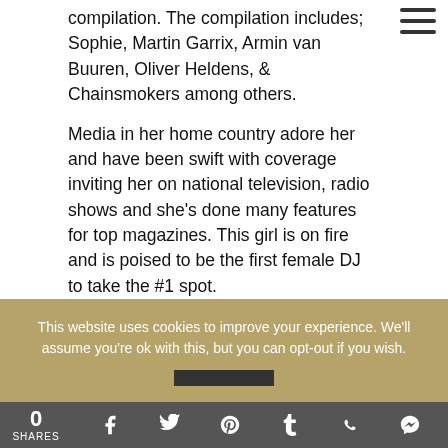compilation. The compilation includes; Sophie, Martin Garrix, Armin van Buuren, Oliver Heldens, & Chainsmokers among others.
Media in her home country adore her and have been swift with coverage inviting her on national television, radio shows and she's done many features for top magazines. This girl is on fire and is poised to be the first female DJ to take the #1 spot.
Sophie Francis Making Global Hits and Touring
This website uses cookies to improve your experience. We'll assume you're ok with this, but you can opt-out if you wish.
0 SHARES